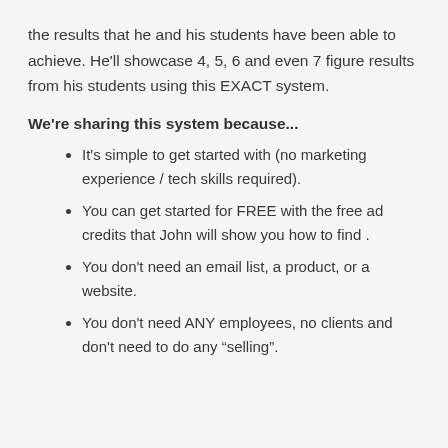the results that he and his students have been able to achieve. He'll showcase 4, 5, 6 and even 7 figure results from his students using this EXACT system.
We're sharing this system because...
It's simple to get started with (no marketing experience / tech skills required).
You can get started for FREE with the free ad credits that John will show you how to find .
You don't need an email list, a product, or a website.
You don't need ANY employees, no clients and don't need to do any “selling”.